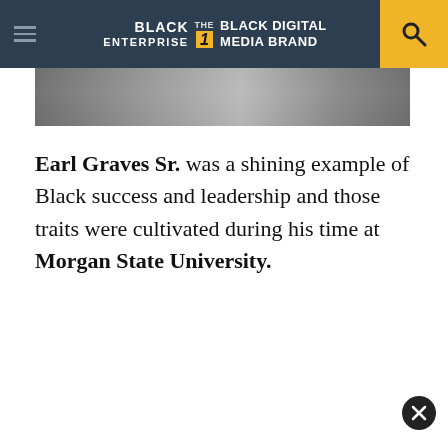BLACK ENTERPRISE THE #1 BLACK DIGITAL MEDIA BRAND
[Figure (photo): Cropped photograph strip, partially visible at top of content area]
Earl Graves Sr. was a shining example of Black success and leadership and those traits were cultivated during his time at Morgan State University.